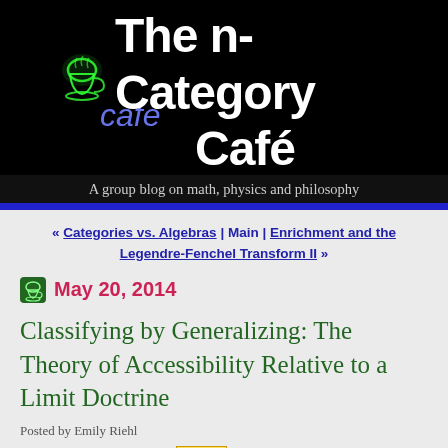[Figure (logo): The n-Category Café blog header logo with neon sign on black background]
A group blog on math, physics and philosophy
« Categories vs. Algebras | Main | Enrichment and the Legendre-Fenchel Transform II »
May 20, 2014
Classifying by Generalizing: The Theory of Accessibility Relative to a Limit Doctrine
Posted by Emily Riehl
Guest post by Tim Campion